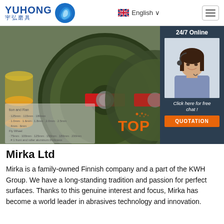YUHONG 宇弘磨具 | English | Menu
[Figure (photo): Product photo showing green abrasive cutting discs/wheels, with a customer service chat panel on the right showing a woman with headset, '24/7 Online' text, 'Click here for free chat!' and QUOTATION button]
Mirka Ltd
Mirka is a family-owned Finnish company and a part of the KWH Group. We have a long-standing tradition and passion for perfect surfaces. Thanks to this genuine interest and focus, Mirka has become a world leader in abrasives technology and innovation.